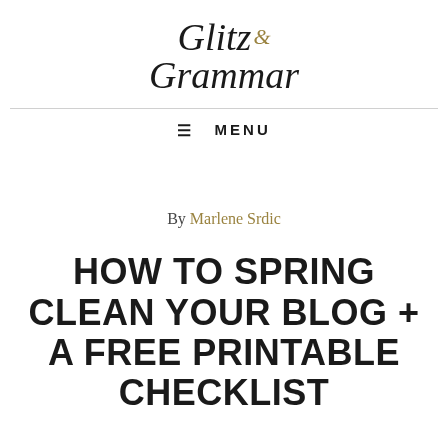[Figure (logo): Glitz & Grammar blog logo in italic serif font with gold ampersand]
≡ MENU
By Marlene Srdic
HOW TO SPRING CLEAN YOUR BLOG + A FREE PRINTABLE CHECKLIST